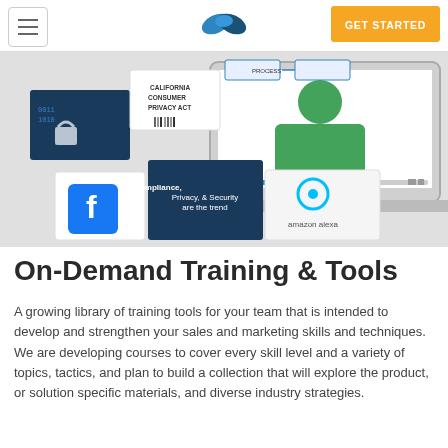Navigation bar with hamburger menu, Kapost logo, and GET STARTED button
[Figure (screenshot): Screenshot of an e-learning platform showing course thumbnails including California Consumer Privacy Act, Compliance Privacy & Security, Facebook logo, Amazon Alexa logo, and a laptop displaying a video player with a presenter.]
On-Demand Training & Tools
A growing library of training tools for your team that is intended to develop and strengthen your sales and marketing skills and techniques. We are developing courses to cover every skill level and a variety of topics, tactics, and plan to build a collection that will explore the product, or solution specific materials, and diverse industry strategies.